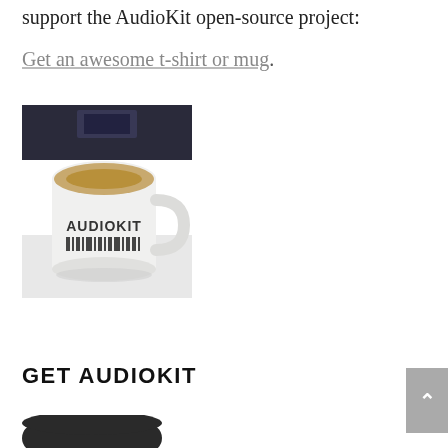support the AudioKit open-source project:
Get an awesome t-shirt or mug.
[Figure (photo): Photo of a white AudioKit branded coffee mug with barcode-style logo graphic on a white surface, with a dark background behind it.]
GET AUDIOKIT
[Figure (photo): Partial view of a dark rounded product (bottom of page, cropped)]